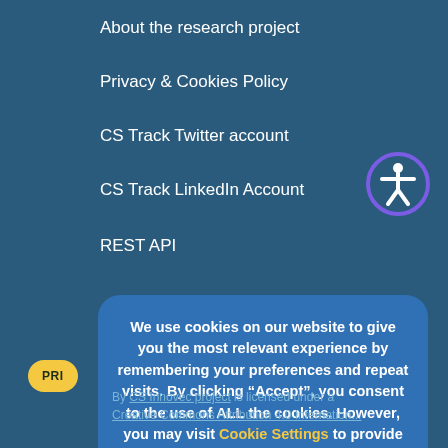About the research project
Privacy & Cookies Policy
CS Track Twitter account
CS Track LinkedIn Account
REST API
[Figure (other): Accessibility icon button — circular purple icon with white person figure, indicating accessibility options]
We use cookies on our website to give you the most relevant experience by remembering your preferences and repeat visits. By clicking “Accept”, you consent to the use of ALL the cookies. However, you may visit Cookie Settings to provide controlled consent.
ACCEPT
PRI
By CS Innovec project is licensed under a Creative Commons Attribution 4.0 Internation...